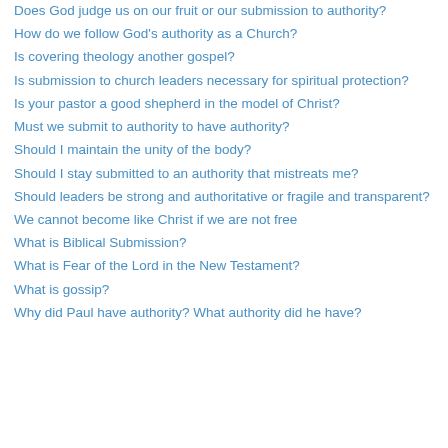Does God judge us on our fruit or our submission to authority?
How do we follow God's authority as a Church?
Is covering theology another gospel?
Is submission to church leaders necessary for spiritual protection?
Is your pastor a good shepherd in the model of Christ?
Must we submit to authority to have authority?
Should I maintain the unity of the body?
Should I stay submitted to an authority that mistreats me?
Should leaders be strong and authoritative or fragile and transparent?
We cannot become like Christ if we are not free
What is Biblical Submission?
What is Fear of the Lord in the New Testament?
What is gossip?
Why did Paul have authority? What authority did he have?